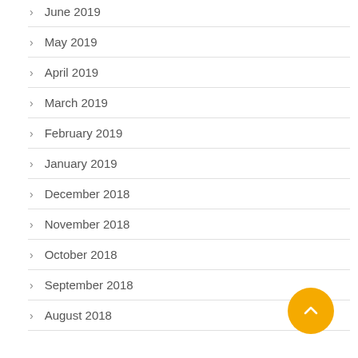June 2019
May 2019
April 2019
March 2019
February 2019
January 2019
December 2018
November 2018
October 2018
September 2018
August 2018
[Figure (other): Yellow circular back-to-top button with upward chevron arrow]